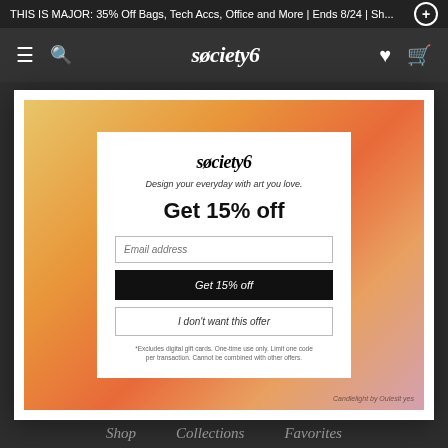THIS IS MAJOR: 35% Off Bags, Tech Accs, Office and More | Ends 8/24 | Sh...
[Figure (screenshot): Society6 website navigation bar with hamburger menu, search icon, society6 logo, heart and cart icons on dark background]
[Figure (infographic): Society6 popup modal with gradient orange/pink background containing a white card with society6 logo, 'Design your everyday with art you love.' tagline, 'Get 15% off' headline, email input field, 'Get 15% off' black button, 'I don't want this offer' outline button, and fine print disclaimer. Bottom right shows 'Candlelight by Oulasit yes' credit.]
Follow
Shop   Collections   Favorites